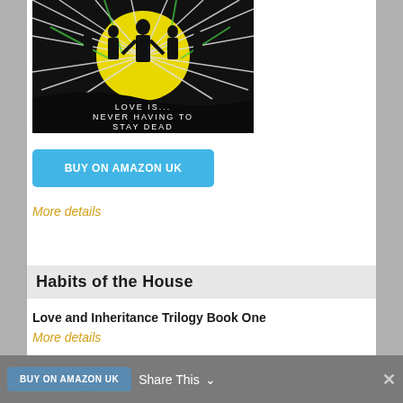[Figure (illustration): Book cover illustration: dark background with a central yellow glowing circle, stylized figures in black silhouette, swirling white lines radiating outward. Text at bottom reads 'LOVE IS... NEVER HAVING TO STAY DEAD' in hand-drawn style.]
BUY ON AMAZON UK
More details
Habits of the House
Love and Inheritance Trilogy Book One
More details
BUY ON AMAZON UK   Share This ∨   ✕